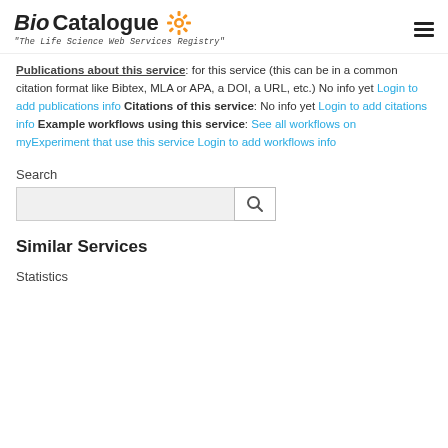BioCatalogue – The Life Science Web Services Registry
Publications about this service: for this service (this can be in a common citation format like Bibtex, MLA or APA, a DOI, a URL, etc.) No info yet Login to add publications info Citations of this service: No info yet Login to add citations info Example workflows using this service: See all workflows on myExperiment that use this service Login to add workflows info
Search
Similar Services
Statistics